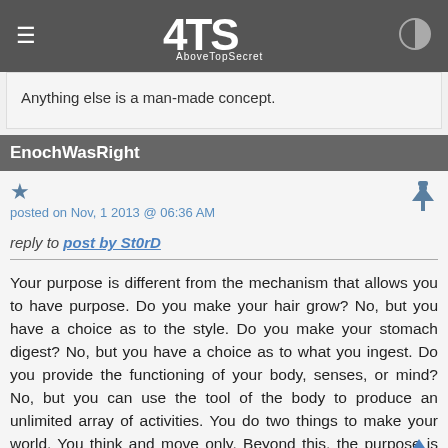ATS AboveTopSecret
Anything else is a man-made concept.
EnochWasRight
posted on Nov, 1 2013 @ 06:36 AM
reply to post by St0rD
Your purpose is different from the mechanism that allows you to have purpose. Do you make your hair grow? No, but you have a choice as to the style. Do you make your stomach digest? No, but you have a choice as to what you ingest. Do you provide the functioning of your body, senses, or mind? No, but you can use the tool of the body to produce an unlimited array of activities. You do two things to make your world. You think and move only. Beyond this, the purpose is what you create by will. The quality of the will determines the